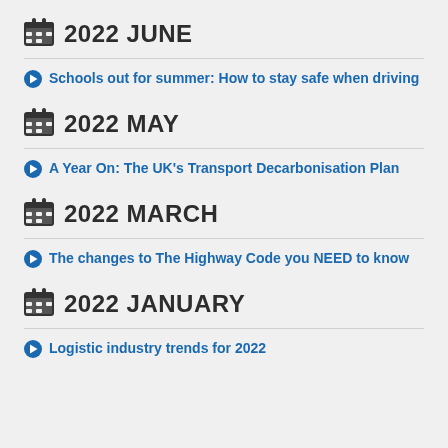2022 JUNE
Schools out for summer: How to stay safe when driving
2022 MAY
A Year On: The UK's Transport Decarbonisation Plan
2022 MARCH
The changes to The Highway Code you NEED to know
2022 JANUARY
Logistic industry trends for 2022